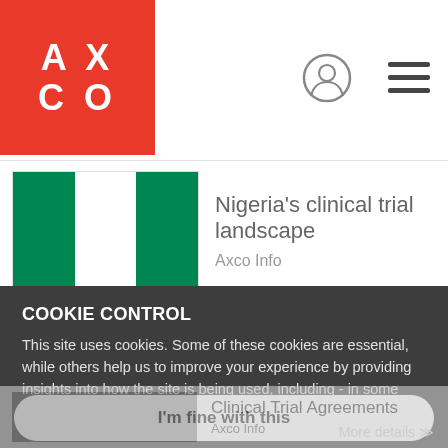[Figure (logo): AXCO logo — white letters 'AX CO' on red background square]
[Figure (illustration): User account icon (circle with person silhouette)]
[Figure (illustration): Hamburger menu icon (three horizontal lines)]
[Figure (photo): Nigerian flag thumbnail — green white green vertical stripes]
Nigeria’s clinical trial landscape
Axco Info
COOKIE CONTROL
This site uses cookies. Some of these cookies are essential, while others help us to improve your experience by providing insights into how the site is being used, including - in some instances - sharing data with other customers. You can use this tool to change your cookie settings. Otherwise, we’ll assume you’re OK to continue.
I’m fine with this
Clinical Trial Agreements
Axco Info
More details »